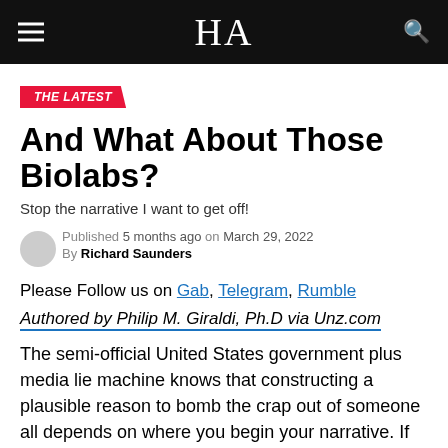HA
THE LATEST
And What About Those Biolabs?
Stop the narrative I want to get off!
Published 5 months ago on March 29, 2022
By Richard Saunders
Please Follow us on Gab, Telegram, Rumble
Authored by Philip M. Giraldi, Ph.D via Unz.com
The semi-official United States government plus media lie machine knows that constructing a plausible reason to bomb the crap out of someone all depends on where you begin your narrative. If you keep starting your accusations at a point where the target has done something bad, all you have to do is repeat yourself ever